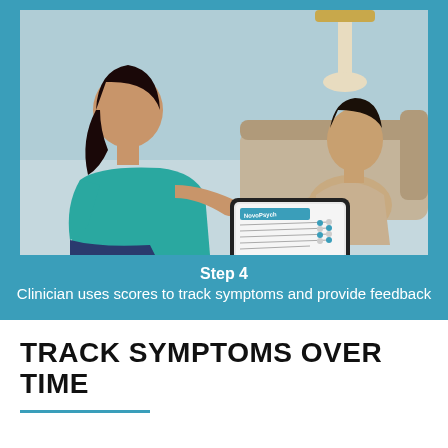[Figure (illustration): Illustration of a clinician and patient sitting across from each other. The patient, a woman with dark hair in a teal top, is gesturing toward a tablet device. The clinician, a man in a beige shirt, is holding a stylus and looking at the tablet which shows a NovoPsych assessment form.]
Step 4
Clinician uses scores to track symptoms and provide feedback
TRACK SYMPTOMS OVER TIME